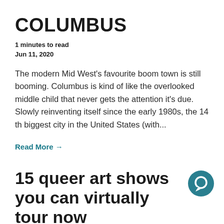COLUMBUS
1 minutes to read
Jun 11, 2020
The modern Mid West's favourite boom town is still booming. Columbus is kind of like the overlooked middle child that never gets the attention it's due. Slowly reinventing itself since the early 1980s, the 14 th biggest city in the United States (with...
Read More →
15 queer art shows you can virtually tour now
1 minutes to read
May 23, 2020